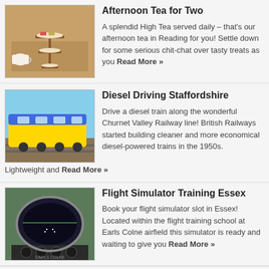[Figure (photo): Afternoon tea setup with tiered cake stand]
Afternoon Tea for Two
A splendid High Tea served daily – that's our afternoon tea in Reading for you! Settle down for some serious chit-chat over tasty treats as you Read More »
[Figure (photo): Yellow and blue diesel train on railway tracks]
Diesel Driving Staffordshire
Drive a diesel train along the wonderful Churnet Valley Railway line! British Railways started building cleaner and more economical diesel-powered trains in the 1950s. Lightweight and Read More »
[Figure (photo): Flight simulator cockpit view]
Flight Simulator Training Essex
Book your flight simulator slot in Essex! Located within the flight training school at Earls Colne airfield this simulator is ready and waiting to give you Read More »
OUTSTANDING VALUE
[Figure (photo): Aerobatic plane in flight]
Aerobatic Flight Essex
Fancy flying some daredevil aerobatics in Upminster? Now